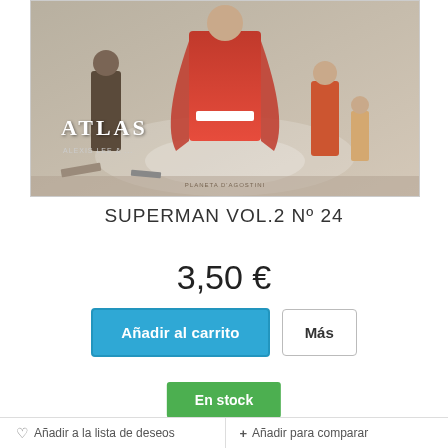[Figure (illustration): Book cover of Superman Vol.2 Nº 24 showing superhero figures in red costumes with the word ATLAS in the lower left. Published by Planeta DeAgostini.]
SUPERMAN VOL.2 Nº 24
3,50 €
Añadir al carrito
Más
En stock
♡ Añadir a la lista de deseos
+ Añadir para comparar